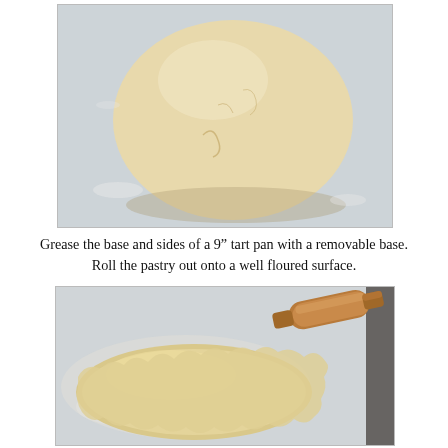[Figure (photo): A ball of raw pastry dough resting on a light blue/grey floured surface, viewed from above. The dough is pale cream/beige in color with visible cracks and texture.]
Grease the base and sides of a 9" tart pan with a removable base. Roll the pastry out onto a well floured surface.
[Figure (photo): Rolled-out pastry dough spread flat on a floured light grey surface, with a wooden rolling pin resting diagonally to the right. The dough is roughly circular with ragged edges and is pale golden/cream in color.]